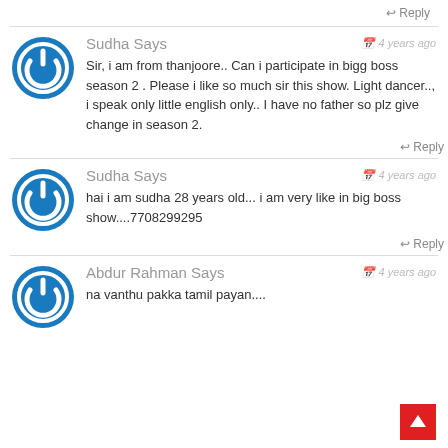Reply
Sudha Says
4 years ago
Sir, i am from thanjoore.. Can i participate in bigg boss season 2 . Please i like so much sir this show. Light dancer.., i speak only little english only.. I have no father so plz give change in season 2.
Reply
Sudha Says
4 years ago
hai i am sudha 28 years old... i am very like in big boss show....7708299295
Reply
Abdur Rahman Says
4 years ago
na vanthu pakka tamil payan....